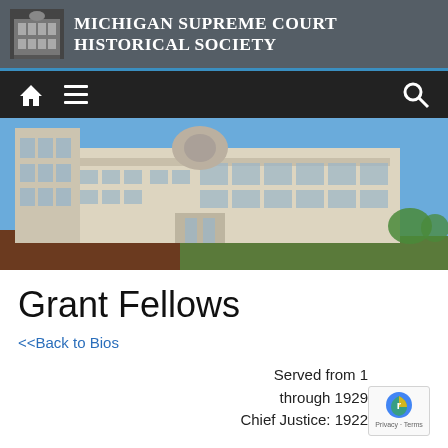Michigan Supreme Court Historical Society
[Figure (photo): Michigan Hall of Justice / Supreme Court building exterior photo, white stone building with dome under blue sky]
Grant Fellows
<<Back to Bios
Served from 1 through 1929 Chief Justice: 1922